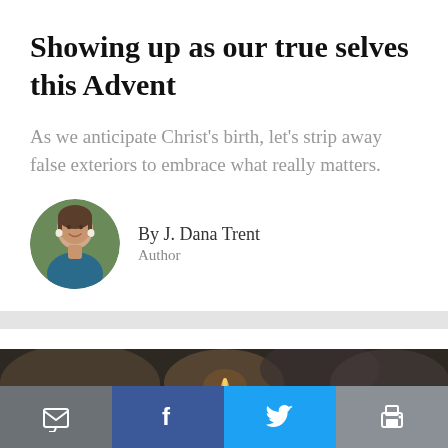Showing up as our true selves this Advent
As we anticipate Christ's birth, let's strip away false exteriors to embrace what really matters.
[Figure (photo): Circular headshot of J. Dana Trent, a woman with brown hair, smiling, wearing a blue top and white earrings, against a green outdoor background]
By J. Dana Trent
Author
[Figure (photo): Dark blurred photo of an Advent candle flame against a dark background]
[Figure (infographic): Social sharing bar with four buttons: email (dark gray), Facebook (dark blue), Twitter (light blue), and print (gray)]